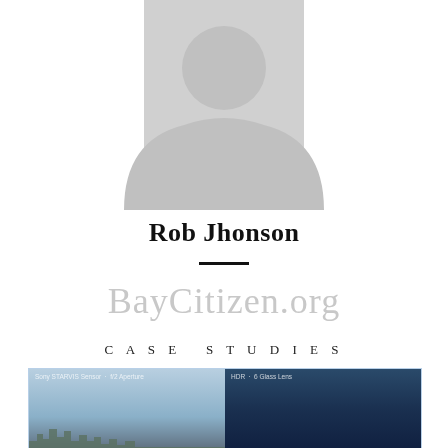[Figure (illustration): Generic placeholder avatar silhouette showing a person outline in light gray]
Rob Jhonson
BayCitizen.org
CASE STUDIES
[Figure (photo): Two side-by-side comparison photos, left showing a light blue hazy sky landscape, right showing a dark blue sky. Overlay text reads: Sony STARVIS Sensor · f/2 Aperture · HDR · 6 Glass Lens]